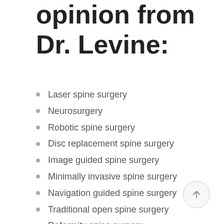opinion from Dr. Levine:
Laser spine surgery
Neurosurgery
Robotic spine surgery
Disc replacement spine surgery
Image guided spine surgery
Minimally invasive spine surgery
Navigation guided spine surgery
Traditional open spine surgery
Deformity spine surgery
Laparoscopic spine surgery
Endoscopic spine surgery